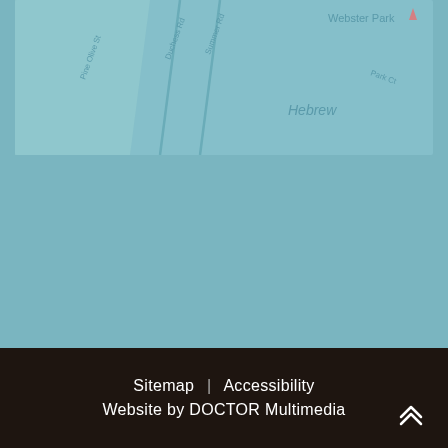[Figure (map): A partial map screenshot with a teal/blue-green background showing street map details. Visible labels include 'Webster Park' in upper right area, 'Hebrew' in the middle-right area, and partially visible street names on the left side. The map has a light teal color scheme typical of online mapping services.]
Sitemap | Accessibility
Website by DOCTOR Multimedia